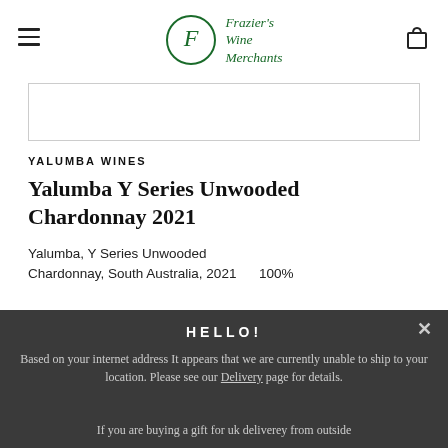Frazier's Wine Merchants
[Figure (other): Product image placeholder area (white rectangle with border)]
YALUMBA WINES
Yalumba Y Series Unwooded Chardonnay 2021
Yalumba, Y Series Unwooded Chardonnay, South Australia, 2021     100%
HELLO!

Based on your internet address It appears that we are currently unable to ship to your location. Please see our Delivery page for details.

If you are buying a gift for uk deliverey from outside